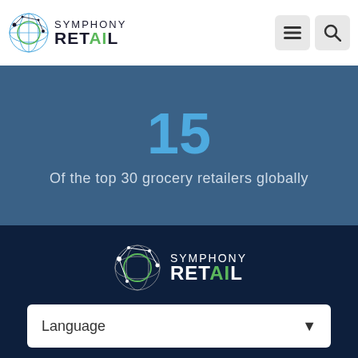Symphony Retail - header with logo, menu and search icons
15
Of the top 30 grocery retailers globally
[Figure (logo): Symphony Retail logo with network globe icon, white text on dark navy background]
[Figure (infographic): Social media icons: Twitter, LinkedIn, YouTube in white circles on dark navy background]
Language